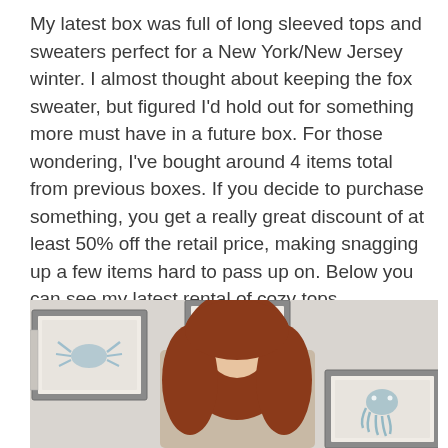My latest box was full of long sleeved tops and sweaters perfect for a New York/New Jersey winter. I almost thought about keeping the fox sweater, but figured I'd hold out for something more must have in a future box. For those wondering, I've bought around 4 items total from previous boxes. If you decide to purchase something, you get a really great discount of at least 50% off the retail price, making snagging up a few items hard to pass up on. Below you can see my latest rental of cozy tops.
[Figure (photo): A woman with long red/auburn hair standing in front of a wall with framed watercolor art prints depicting sea creatures (fish, crab, octopus). The photo is cropped showing from approximately shoulders up.]